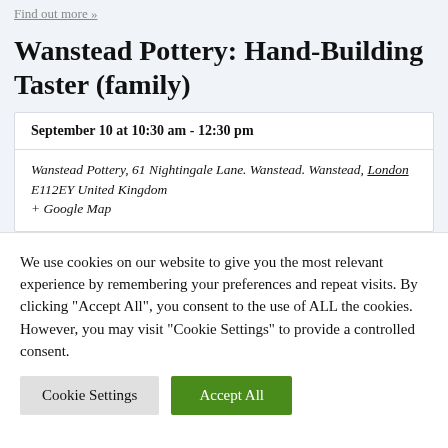Find out more »
Wanstead Pottery: Hand-Building Taster (family)
September 10 at 10:30 am - 12:30 pm
Wanstead Pottery, 61 Nightingale Lane. Wanstead. Wanstead, London E112EY United Kingdom + Google Map
We use cookies on our website to give you the most relevant experience by remembering your preferences and repeat visits. By clicking "Accept All", you consent to the use of ALL the cookies. However, you may visit "Cookie Settings" to provide a controlled consent.
Cookie Settings
Accept All